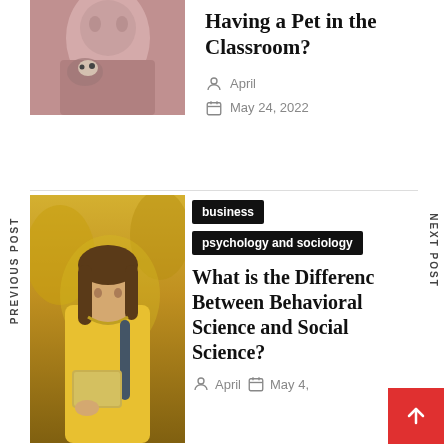[Figure (photo): Close-up photo of a person with a cat/pet]
Having a Pet in the Classroom?
April
May 24, 2022
PREVIOUS POST
NEXT POST
[Figure (photo): Photo of a young woman student wearing a yellow jacket and backpack, holding a tablet, outdoors in autumn]
business
psychology and sociology
What is the Difference Between Behavioral Science and Social Science?
April
May 4,